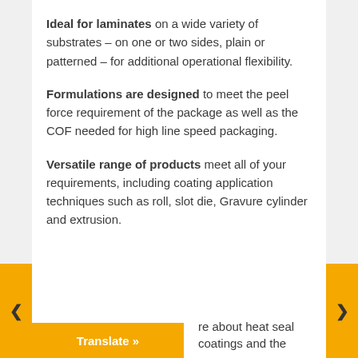Ideal for laminates on a wide variety of substrates – on one or two sides, plain or patterned – for additional operational flexibility.
Formulations are designed to meet the peel force requirement of the package as well as the COF needed for high line speed packaging.
Versatile range of products meet all of your requirements, including coating application techniques such as roll, slot die, Gravure cylinder and extrusion.
…re about heat seal coatings and the